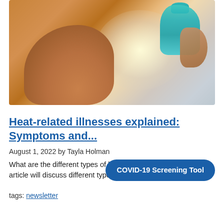[Figure (photo): Woman drinking from a teal/turquoise water bottle, photographed from below against a bright background, warm skin tones visible on neck and shoulder.]
Heat-related illnesses explained: Symptoms and...
August 1, 2022 by Tayla Holman
What are the different types of h... article will discuss different type...
COVID-19 Screening Tool
tags: newsletter